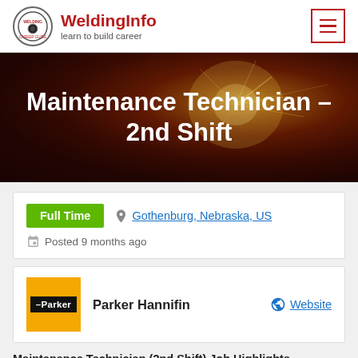WeldingInfo — learn to build career
Maintenance Technician – 2nd Shift
Full Time   Gothenburg, Nebraska, US   Posted 9 months ago
Parker Hannifin   Website
Maintenance Technician (2nd Shift) Job Highlights